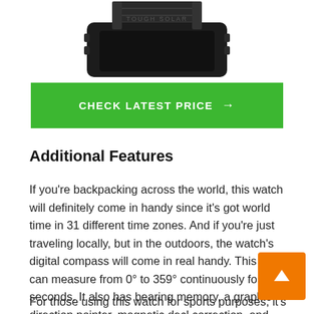[Figure (photo): Partial bottom view of a black outdoor/sports watch with rubber strap]
CHECK LATEST PRICE →
Additional Features
If you're backpacking across the world, this watch will definitely come in handy since it's got world time in 31 different time zones. And if you're just traveling locally, but in the outdoors, the watch's digital compass will come in real handy. This watch can measure from 0° to 359° continuously for 20 seconds. It also has bearing memory, a graphic direction pointer, magnetic decl correction, and bidirectional calibration.
For those using this watch for sports purposes, it's also